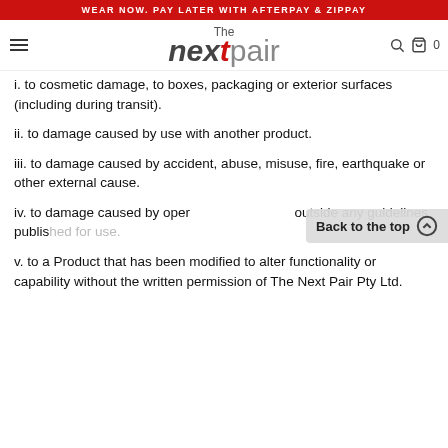WEAR NOW. PAY LATER WITH AFTERPAY & ZIPPAY
[Figure (logo): The Next Pair logo with hamburger menu, search and cart icons]
i. to cosmetic damage, to boxes, packaging or exterior surfaces (including during transit).
ii. to damage caused by use with another product.
iii. to damage caused by accident, abuse, misuse, fire, earthquake or other external cause.
iv. to damage caused by oper outside any guidelines published for use.
v. to a Product that has been modified to alter functionality or capability without the written permission of The Next Pair Pty Ltd.